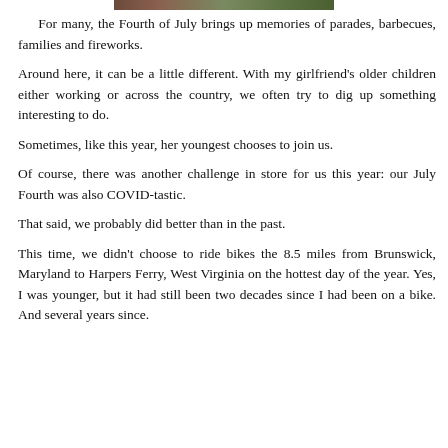[Figure (photo): Partial photo strip visible at top of page]
For many, the Fourth of July brings up memories of parades, barbecues, families and fireworks.
Around here, it can be a little different. With my girlfriend's older children either working or across the country, we often try to dig up something interesting to do.
Sometimes, like this year, her youngest chooses to join us.
Of course, there was another challenge in store for us this year: our July Fourth was also COVID-tastic.
That said, we probably did better than in the past.
This time, we didn't choose to ride bikes the 8.5 miles from Brunswick, Maryland to Harpers Ferry, West Virginia on the hottest day of the year. Yes, I was younger, but it had still been two decades since I had been on a bike. And several years since.